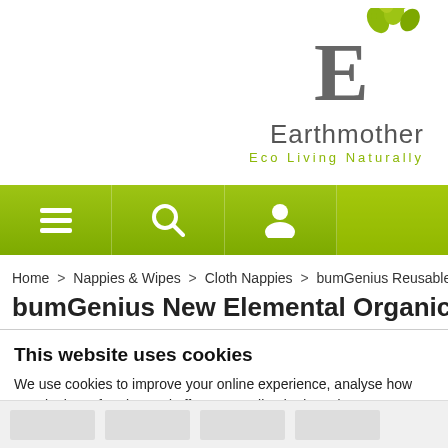[Figure (logo): Earthmother logo: stylized letter E with green tree/leaves on top, brand name 'Earthmother' in grey, tagline 'Eco Living Naturally' in olive green]
[Figure (screenshot): Green navigation bar with hamburger menu icon, search icon, and user/account icon]
Home > Nappies & Wipes > Cloth Nappies > bumGenius Reusable Nappies
bumGenius New Elemental Organic Cotton One-Siz
This website uses cookies
We use cookies to improve your online experience, analyse how our site is performing and offer personalised ads and content. Please let us know if you are happy to accept all cookies or manage your preferences below.
Decline All Cookies | Allow Selection | Accept All